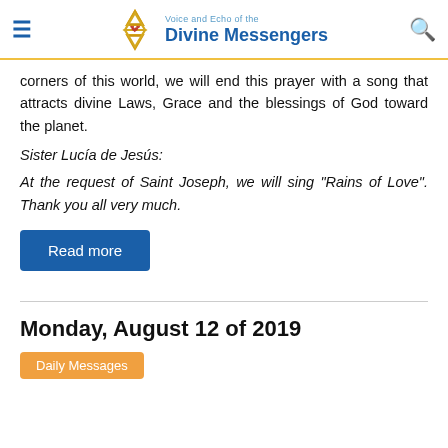Voice and Echo of the Divine Messengers
corners of this world, we will end this prayer with a song that attracts divine Laws, Grace and the blessings of God toward the planet.
Sister Lucía de Jesús:
At the request of Saint Joseph, we will sing "Rains of Love". Thank you all very much.
Read more
Monday, August 12 of 2019
Daily Messages